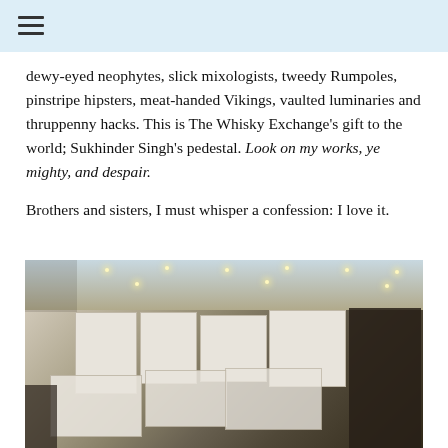[navigation bar with hamburger menu]
dewy-eyed neophytes, slick mixologists, tweedy Rumpoles, pinstripe hipsters, meat-handed Vikings, vaulted luminaries and thruppenny hacks. This is The Whisky Exchange's gift to the world; Sukhinder Singh's pedestal. Look on my works, ye mighty, and despair.

Brothers and sisters, I must whisper a confession: I love it.
[Figure (photo): Overhead view of a large whisky expo or trade show held in a grand hall with arched windows and ornate architecture. Numerous white and dark exhibition booths fill the floor, with crowds of visitors browsing between stands. Various whisky brand banners and bottles are visible at the stands.]